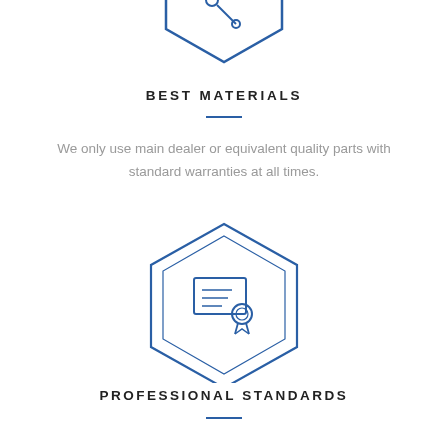[Figure (illustration): Blue hexagon outline icon with a wrench or tools symbol inside, partially visible at the top of the page]
BEST MATERIALS
We only use main dealer or equivalent quality parts with standard warranties at all times.
[Figure (illustration): Blue hexagon outline icon with a certificate/award ribbon icon inside]
PROFESSIONAL STANDARDS